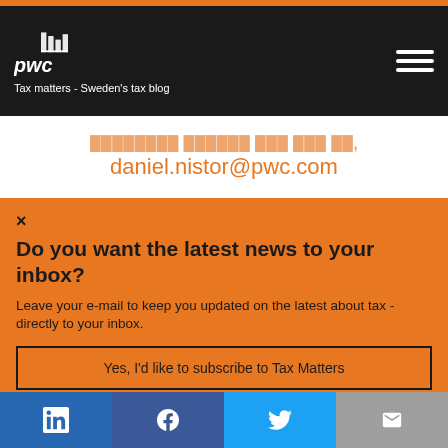PwC - Tax matters - Sweden's tax blog
daniel.nistor@pwc.com
Do you want the latest news to your inbox?
Leave your e-mail to keep you updated on the latest about tax - directly to your inbox.
Yes, I'd like to subscribe to Tax Matters
[Figure (infographic): Social media share bar with LinkedIn, Facebook, Twitter, and email icons]